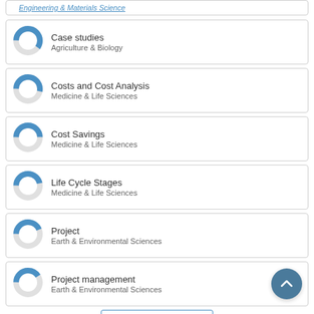Engineering & Materials Science
Case studies — Agriculture & Biology
Costs and Cost Analysis — Medicine & Life Sciences
Cost Savings — Medicine & Life Sciences
Life Cycle Stages — Medicine & Life Sciences
Project — Earth & Environmental Sciences
Project management — Earth & Environmental Sciences
View full fingerprint >